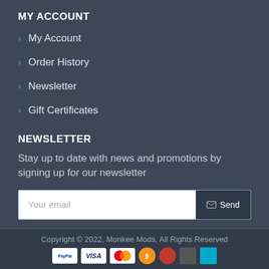MY ACCOUNT
My Account
Order History
Newsletter
Gift Certificates
NEWSLETTER
Stay up to date with news and promotions by signing up for our newsletter
Your email
I have read and agree to the Privacy Policy
Copyright © 2022, Monkee Mods, All Rights Reserved